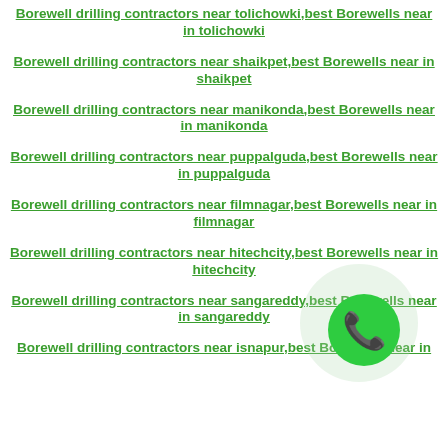Borewell drilling contractors near tolichowki,best Borewells near in tolichowki
Borewell drilling contractors near shaikpet,best Borewells near in shaikpet
Borewell drilling contractors near manikonda,best Borewells near in manikonda
Borewell drilling contractors near puppalguda,best Borewells near in puppalguda
Borewell drilling contractors near filmnagar,best Borewells near in filmnagar
Borewell drilling contractors near hitechcity,best Borewells near in hitechcity
Borewell drilling contractors near sangareddy,best Borewells near in sangareddy
Borewell drilling contractors near isnapur,best Borewells near in